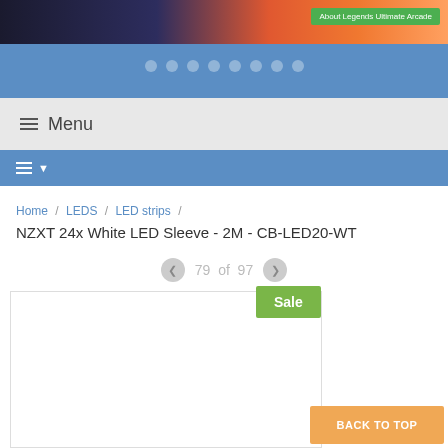[Figure (screenshot): Website banner with dark arcade game background image and green 'About Legends Ultimate Arcade' button]
Menu
[Figure (screenshot): Navigation dots row (8 dots indicating carousel position) on blue background]
Home / LEDS / LED strips /
NZXT 24x White LED Sleeve - 2M - CB-LED20-WT
79 of 97
[Figure (screenshot): Product image area (white/empty product photo with partial image at bottom), Sale badge overlay]
BACK TO TOP